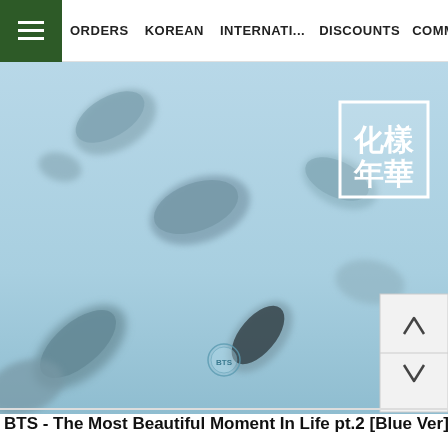ORDERS  KOREAN  INTERNATI...  DISCOUNTS  COMMUNITY
[Figure (photo): BTS – The Most Beautiful Moment in Life pt.2 Blue Version album cover showing floating petals/seeds on a light blue background with white framed Chinese characters 化樣年華 and small BTS circular logo at the bottom center.]
BTS - The Most Beautiful Moment In Life pt.2 [Blue Ver]